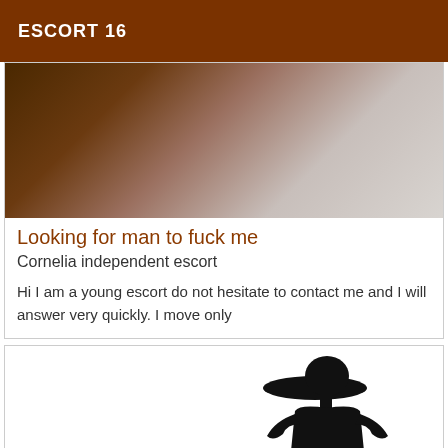ESCORT 16
[Figure (photo): Blurred dark-to-light gradient photo, brownish-dark on left fading to light grey on right]
Looking for man to fuck me
Cornelia independent escort
Hi I am a young escort do not hesitate to contact me and I will answer very quickly. I move only
[Figure (illustration): Black silhouette of a person wearing a wide-brimmed hat, standing with hands on hips]